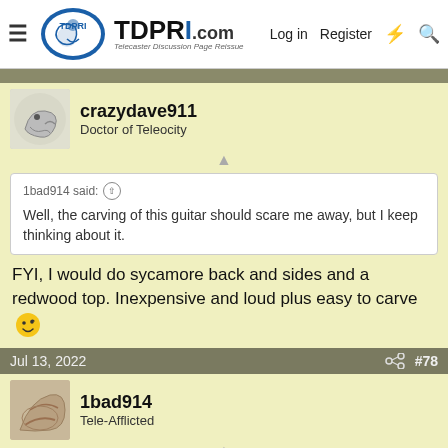TDPRI.com - Telecaster Discussion Page Reissue | Log in | Register
crazydave911
Doctor of Teleocity
1bad914 said: Well, the carving of this guitar should scare me away, but I keep thinking about it.
FYI, I would do sycamore back and sides and a redwood top. Inexpensive and loud plus easy to carve 😉
Jul 13, 2022   #78
1bad914
Tele-Afflicted
crazydave911 said: FYI, I would do sycamore back and sides and a redwood top.